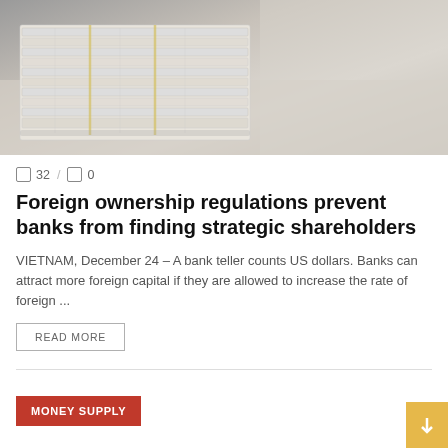[Figure (photo): A bank teller counting bundled stacks of US dollar bills on a table, seen from above at an angle. Photo is partially desaturated with grey tones.]
32 / 0
Foreign ownership regulations prevent banks from finding strategic shareholders
VIETNAM, December 24 – A bank teller counts US dollars. Banks can attract more foreign capital if they are allowed to increase the rate of foreign ...
READ MORE
MONEY SUPPLY